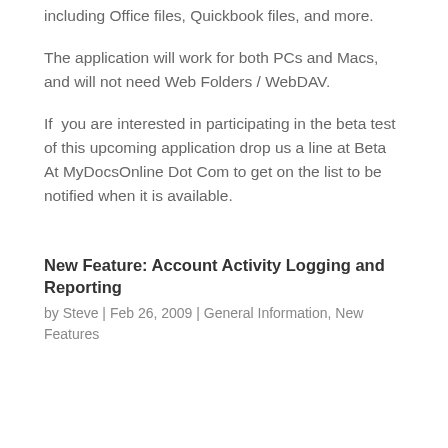including Office files, Quickbook files, and more.
The application will work for both PCs and Macs, and will not need Web Folders / WebDAV.
If  you are interested in participating in the beta test of this upcoming application drop us a line at Beta At MyDocsOnline Dot Com to get on the list to be notified when it is available.
New Feature: Account Activity Logging and Reporting
by Steve | Feb 26, 2009 | General Information, New Features